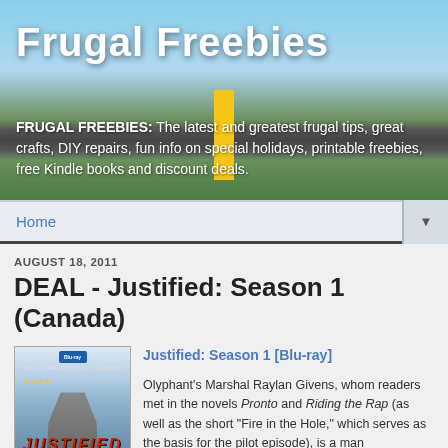[Figure (photo): Frugal Freebies website header banner with road/highway background image and site title and subtitle text]
Frugal Freebies
FRUGAL FREEBIES: The latest and greatest frugal tips, great crafts, DIY repairs, fun info on special holidays, printable freebies, free Kindle books and discount deals.
Home
AUGUST 18, 2011
DEAL - Justified: Season 1 (Canada)
[Figure (photo): Blu-ray cover of Justified: The Complete First Season showing a man in a cowboy hat with the show logo]
Justified: Season 1 [Blu-ray]
Olyphant's Marshal Raylan Givens, whom readers met in the novels Pronto and Riding the Rap (as well as the short "Fire in the Hole," which serves as the basis for the pilot episode), is a man